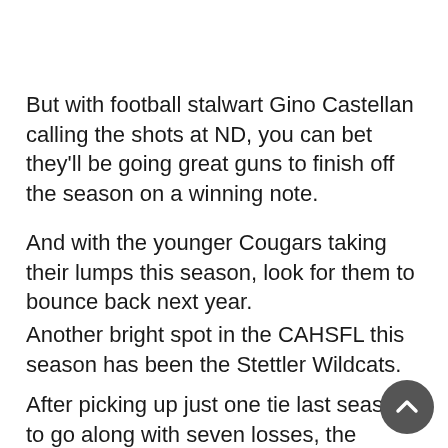But with football stalwart Gino Castellan calling the shots at ND, you can bet they'll be going great guns to finish off the season on a winning note.
And with the younger Cougars taking their lumps this season, look for them to bounce back next year.
Another bright spot in the CAHSFL this season has been the Stettler Wildcats.
After picking up just one tie last season to go along with seven losses, the Wildcats have already gone above and beyond those numbers this year, with three wins, one loss